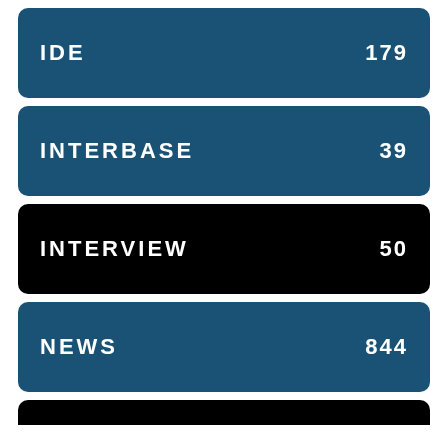IDE  179
INTERBASE  39
INTERVIEW  50
NEWS  844
PRODUCTIVITY  14
We use cookies on our website to give you the most relevant experience by remembering your preferences and repeat visits. By clicking “Accept”, you consent to the use of ALL the cookies.
Do not sell my personal information.